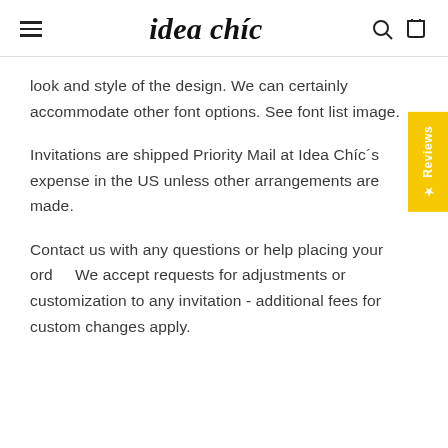idea chíc
look and style of the design. We can certainly accommodate other font options. See font list image.
Invitations are shipped Priority Mail at Idea Chíc´s expense in the US unless other arrangements are made.
Contact us with any questions or help placing your order. We accept requests for adjustments or customization to any invitation - additional fees for custom changes apply.